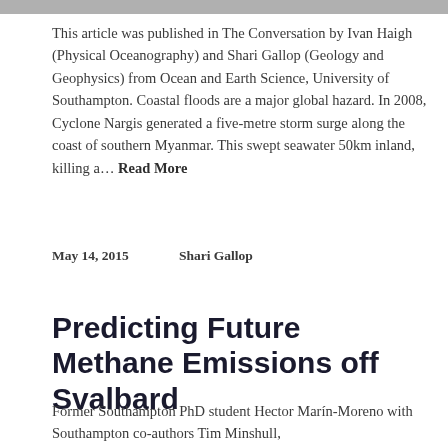[Figure (photo): Partial image strip at top of page, appears to be a cropped photograph]
This article was published in The Conversation by Ivan Haigh (Physical Oceanography) and Shari Gallop (Geology and Geophysics) from Ocean and Earth Science, University of Southampton. Coastal floods are a major global hazard. In 2008, Cyclone Nargis generated a five-metre storm surge along the coast of southern Myanmar. This swept seawater 50km inland, killing a… Read More
May 14, 2015      Shari Gallop
Predicting Future Methane Emissions off Svalbard
Former Southampton PhD student Hector Marín-Moreno with Southampton co-authors Tim Minshull,